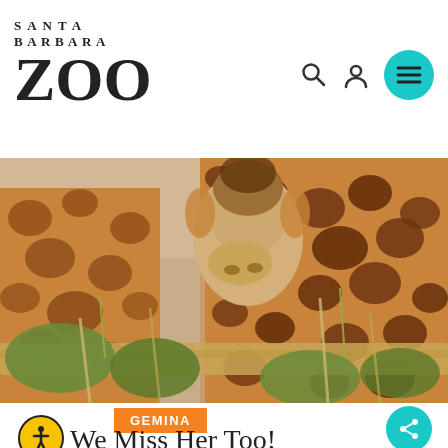SANTA BARBARA ZOO
[Figure (photo): Close-up photo of two giraffes eating hay/grass at the Santa Barbara Zoo. One giraffe's head is visible from below the chin, and another giraffe's patterned neck and body fills the right side. Green foliage and wooden poles are in the foreground.]
GEMINA
We Miss Her Too!